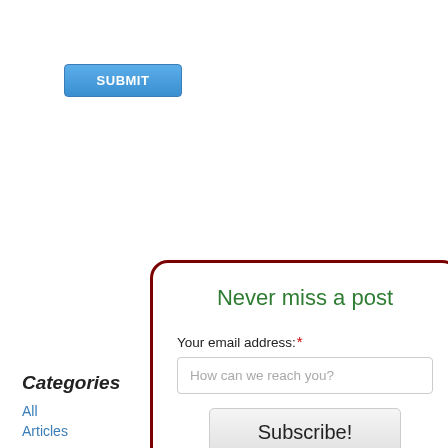[Figure (screenshot): A blue SUBMIT button with white text]
[Figure (screenshot): Email subscription widget with dark red border, green title 'Never miss a post', email input field with placeholder 'How can we reach you?', and a Subscribe! button]
Categories
All
Articles